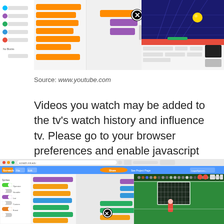[Figure (screenshot): Screenshot of Scratch programming environment with block-based code editor, a 3D tunnel stage with a ball sprite, and sprite properties panel below]
Source: www.youtube.com
Videos you watch may be added to the tv's watch history and influence tv. Please go to your browser preferences and enable javascript in order to use scratch.
[Figure (screenshot): Screenshot of Scratch programming environment in a browser window showing block-based coding interface with toggle switches, colored blocks, and a soccer goal stage on the right]